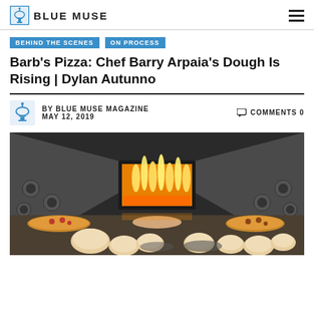BLUE MUSE
BEHIND THE SCENES | ON PROCESS
Barb's Pizza: Chef Barry Arpaia's Dough Is Rising | Dylan Autunno
BY BLUE MUSE MAGAZINE  MAY 12, 2019   COMMENTS 0
[Figure (photo): Interior view of a commercial pizza oven with bright orange and yellow flames visible through the oven opening. Multiple pizzas and bread dough balls are arranged on the oven floor in the foreground.]